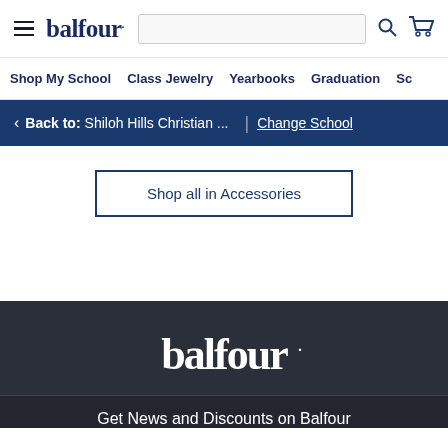balfour. — navigation header with hamburger menu, search bar, and cart icon
Shop My School   Class Jewelry   Yearbooks   Graduation   Sc
< Back to: Shiloh Hills Christian ... | Change School
Shop all in Accessories
[Figure (logo): Balfour logo in white text on dark background]
Get News and Discounts on Balfour